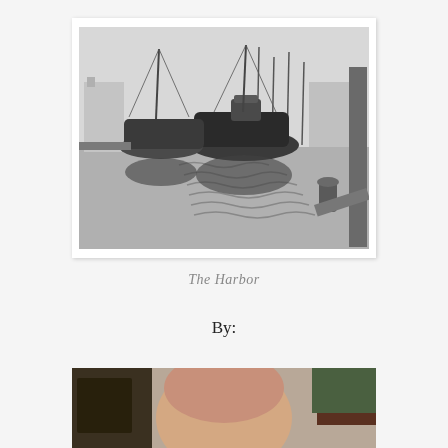[Figure (illustration): Black and white pencil drawing of a harbor scene with several fishing boats moored at a dock, with masts, water reflections, and dock pilings visible.]
The Harbor
By:
[Figure (photo): Color photograph of an elderly man, cropped showing the top of his head and face, with items visible in the background.]